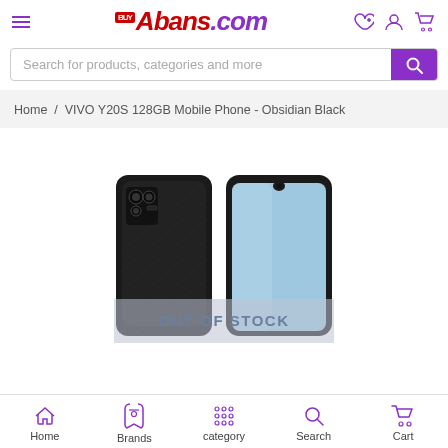BuyAbans.com — navigation header with hamburger menu, logo, and icons
Search for products, categories and more
Home / VIVO Y20S 128GB Mobile Phone - Obsidian Black
[Figure (photo): VIVO Y20S 128GB mobile phone in Obsidian Black showing front and back views with an 'OUT OF STOCK' overlay banner]
Home | Brands | category | Search | Cart